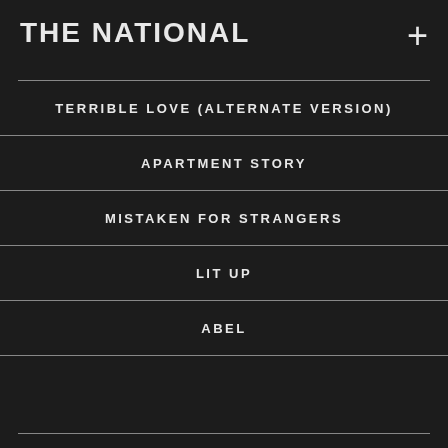THE NATIONAL
TERRIBLE LOVE (ALTERNATE VERSION)
APARTMENT STORY
MISTAKEN FOR STRANGERS
LIT UP
ABEL